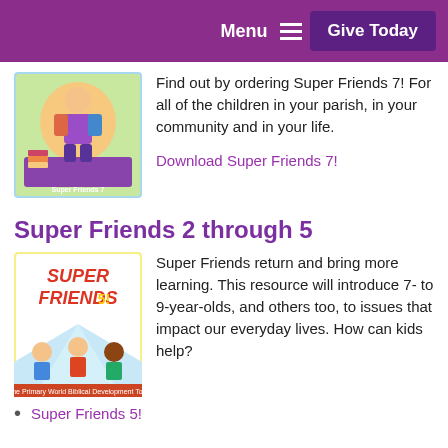Menu  Give Today
[Figure (illustration): Colorful illustrated book cover for Super Friends 7]
Find out by ordering Super Friends 7! For all of the children in your parish, in your community and in your life.
Download Super Friends 7!
Super Friends 2 through 5
[Figure (illustration): Colorful illustrated book cover for Super Friends 5]
Super Friends return and bring more learning. This resource will introduce 7- to 9-year-olds, and others too, to issues that impact our everyday lives. How can kids help?
Super Friends 5!